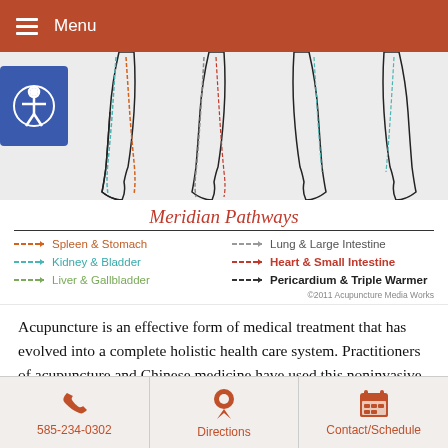Menu
[Figure (illustration): Diagram of human legs showing meridian pathways - four leg illustrations (front and back views) with colored lines representing different meridian channels]
Meridian Pathways
[Figure (infographic): Legend showing meridian pathway categories: Spleen & Stomach (orange), Lung & Large Intestine (gray), Kidney & Bladder (teal), Heart & Small Intestine (red), Liver & Gallbladder (green), Pericardium & Triple Warmer (dark/bold). Copyright 2011 Acupuncture Media Works.]
Acupuncture is an effective form of medical treatment that has evolved into a complete holistic health care system. Practitioners of acupuncture and Chinese medicine have used this noninvasive treatment method to help millions of people become well and stay
585-234-0302  Directions  Contact/Schedule